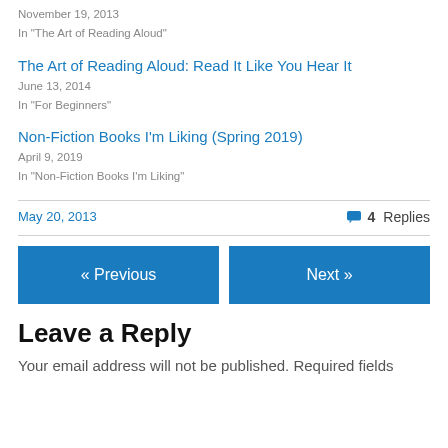November 19, 2013
In "The Art of Reading Aloud"
The Art of Reading Aloud: Read It Like You Hear It
June 13, 2014
In "For Beginners"
Non-Fiction Books I'm Liking (Spring 2019)
April 9, 2019
In "Non-Fiction Books I'm Liking"
May 20, 2013
4 Replies
« Previous
Next »
Leave a Reply
Your email address will not be published. Required fields